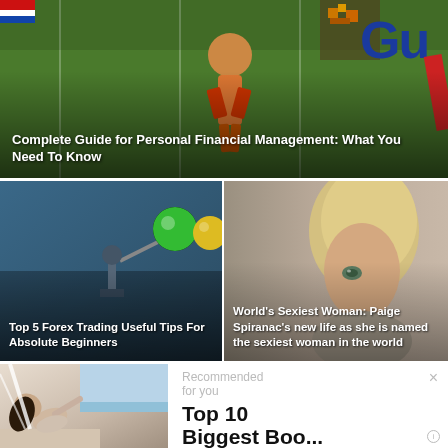[Figure (photo): Sports/field background image with player figure and GUI text overlay, showing green field]
Complete Guide for Personal Financial Management: What You Need To Know
[Figure (photo): Abstract teal/blue background with green and yellow circular elements resembling trading/forex interface]
Top 5 Forex Trading Useful Tips For Absolute Beginners
[Figure (photo): Close-up photo of blonde woman, Paige Spiranac]
World's Sexiest Woman: Paige Spiranac's new life as she is named the sexiest woman in the world
[Figure (photo): Photo of dark-haired woman on boat looking upward]
Recommended for you
Top 10 Biggest Boo...
www.t10ranker.com